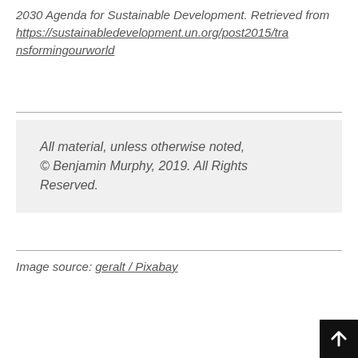2030 Agenda for Sustainable Development. Retrieved from https://sustainabledevelopment.un.org/post2015/transformingourworld
All material, unless otherwise noted, © Benjamin Murphy, 2019. All Rights Reserved.
Image source: geralt / Pixabay